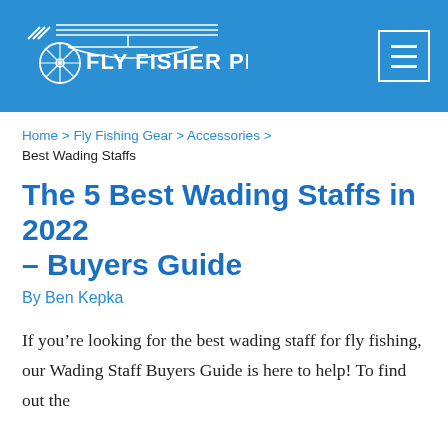FLY FISHER PRO
Home > Fly Fishing Gear > Accessories > Best Wading Staffs
The 5 Best Wading Staffs in 2022 – Buyers Guide
By Ben Kepka
If you’re looking for the best wading staff for fly fishing, our Wading Staff Buyers Guide is here to help! To find out the